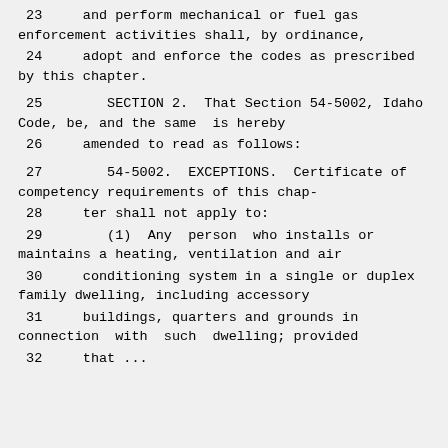23     and perform mechanical or fuel gas enforcement activities shall, by ordinance,
24     adopt and enforce the codes as prescribed by this chapter.
25        SECTION 2.  That Section 54-5002, Idaho Code, be, and the same  is hereby
26     amended to read as follows:
27        54-5002.  EXCEPTIONS.  Certificate of competency requirements of this chap-
28     ter shall not apply to:
29        (1)  Any  person  who installs or maintains a heating, ventilation and air
30     conditioning system in a single or duplex family dwelling, including accessory
31     buildings, quarters and grounds in connection  with  such  dwelling; provided
32     that the ...